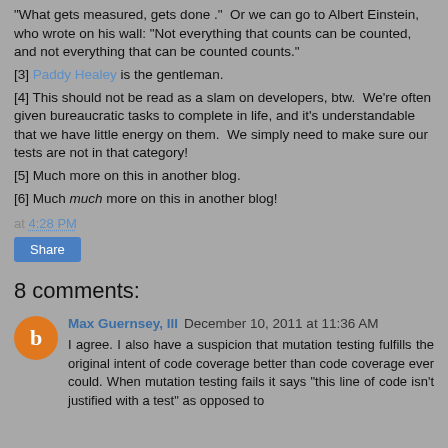"What gets measured, gets done ."  Or we can go to Albert Einstein, who wrote on his wall: "Not everything that counts can be counted, and not everything that can be counted counts."
[3] Paddy Healey is the gentleman.
[4] This should not be read as a slam on developers, btw.  We're often given bureaucratic tasks to complete in life, and it's understandable that we have little energy on them.  We simply need to make sure our tests are not in that category!
[5] Much more on this in another blog.
[6] Much much more on this in another blog!
at 4:28 PM
Share
8 comments:
Max Guernsey, III December 10, 2011 at 11:36 AM
I agree. I also have a suspicion that mutation testing fulfills the original intent of code coverage better than code coverage ever could. When mutation testing fails it says "this line of code isn't justified with a test" as opposed to